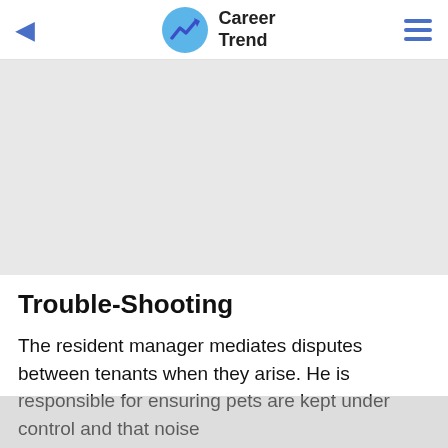Career Trend
[Figure (other): Advertisement placeholder area (gray rectangle)]
Trouble-Shooting
The resident manager mediates disputes between tenants when they arise. He is responsible for ensuring pets are kept under control and that noise